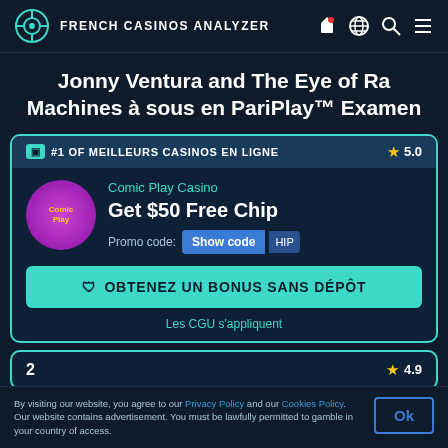FRENCH CASINOS ANALYZER
Jonny Ventura and The Eye of Ra Machines à sous en PariPlay™ Examen
#1 OF MEILLEURS CASINOS EN LIGNE
Comic Play Casino
Get $50 Free Chip
Promo code: Show code HIP
OBTENEZ UN BONUS SANS DÉPÔT
Les CGU s'appliquent
2
By visiting our website, you agree to our Privacy Policy and our Cookies Policy. Our website contains advertisement. You must be lawfully permitted to gamble in your country of access.